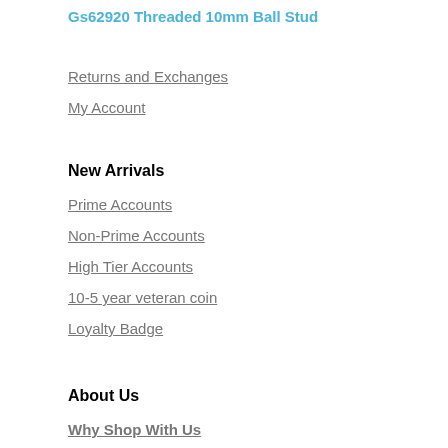Gs62920 Threaded 10mm Ball Stud
Returns and Exchanges
My Account
New Arrivals
Prime Accounts
Non-Prime Accounts
High Tier Accounts
10-5 year veteran coin
Loyalty Badge
About Us
Why Shop With Us